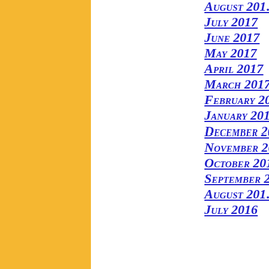[Figure (other): Gold/yellow vertical bar on the left side of the page]
August 2017
July 2017
June 2017
May 2017
April 2017
March 2017
February 2017
January 2017
December 2016
November 2016
October 2016
September 2016
August 2016
July 2016